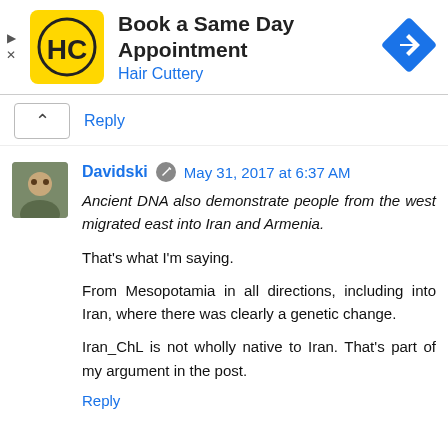[Figure (screenshot): Hair Cuttery advertisement banner with yellow square logo showing stylized HC letters, text 'Book a Same Day Appointment' and 'Hair Cuttery' in blue, and a blue diamond navigation icon on the right]
Reply
Davidski  May 31, 2017 at 6:37 AM
Ancient DNA also demonstrate people from the west migrated east into Iran and Armenia.

That's what I'm saying.

From Mesopotamia in all directions, including into Iran, where there was clearly a genetic change.

Iran_ChL is not wholly native to Iran. That's part of my argument in the post.

Reply